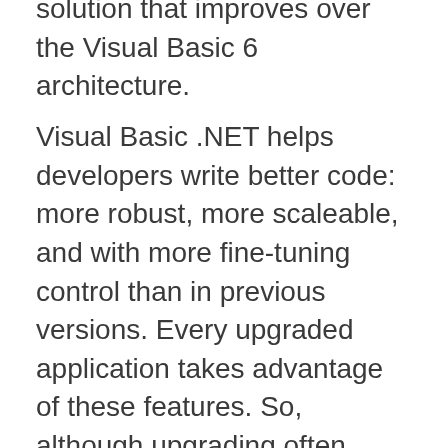solution that improves over the Visual Basic 6 architecture.
Visual Basic .NET helps developers write better code: more robust, more scaleable, and with more fine-tuning control than in previous versions. Every upgraded application takes advantage of these features. So, although upgrading often requires some modifications on your part, the result is frequently an enhanced application that improves upon the previous version.